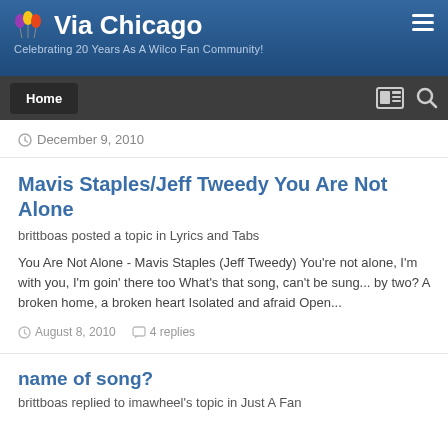Via Chicago — Celebrating 20 Years As A Wilco Fan Community!
December 9, 2010
Mavis Staples/Jeff Tweedy You Are Not Alone
brittboas posted a topic in Lyrics and Tabs
You Are Not Alone - Mavis Staples (Jeff Tweedy) You're not alone, I'm with you, I'm goin' there too What's that song, can't be sung... by two? A broken home, a broken heart Isolated and afraid Open...
August 8, 2010   4 replies
name of song?
brittboas replied to imawheel's topic in Just A Fan